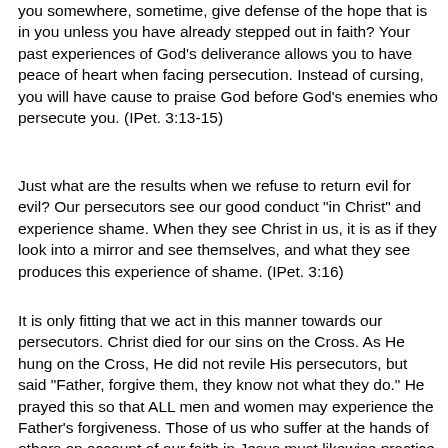you somewhere, sometime, give defense of the hope that is in you unless you have already stepped out in faith? Your past experiences of God's deliverance allows you to have peace of heart when facing persecution. Instead of cursing, you will have cause to praise God before God's enemies who persecute you. (IPet. 3:13-15)
Just what are the results when we refuse to return evil for evil? Our persecutors see our good conduct "in Christ" and experience shame. When they see Christ in us, it is as if they look into a mirror and see themselves, and what they see produces this experience of shame. (IPet. 3:16)
It is only fitting that we act in this manner towards our persecutors. Christ died for our sins on the Cross. As He hung on the Cross, He did not revile His persecutors, but said "Father, forgive them, they know not what they do." He prayed this so that ALL men and women may experience the Father's forgiveness. Those of us who suffer at the hands of others on account of our faith in Jesus must likewise practice forgiveness publicly so that we may help bring our persecutors to a state of repentance and forgiveness of sins. (IPet 3:18-22)